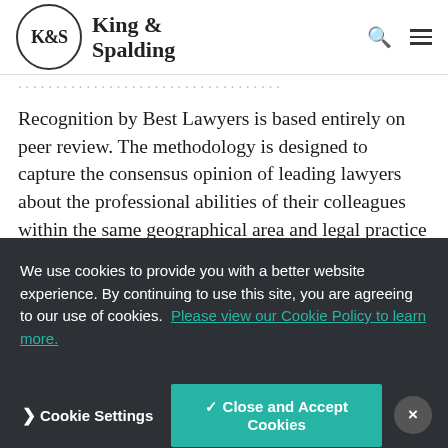[Figure (logo): King & Spalding law firm logo — circular K&S emblem with firm name in serif font]
Recognition by Best Lawyers is based entirely on peer review. The methodology is designed to capture the consensus opinion of leading lawyers about the professional abilities of their colleagues within the same geographical area and legal practice area.
About King & Spalding
We use cookies to provide you with a better website experience. By continuing to use this site, you are agreeing to our use of cookies. Please view our Cookie Policy to learn more.